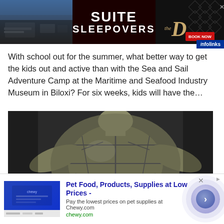[Figure (other): Banner advertisement for 'Suite Sleepovers' at The D hotel/casino with room interior photo, red 'Book Now' button, diamond pattern, and close button. Infolinks badge visible.]
With school out for the summer, what better way to get the kids out and active than with the Sea and Sail Adventure Camp at the Maritime and Seafood Industry Museum in Biloxi? For six weeks, kids will have the…
[Figure (photo): Close-up top-down photograph of a sea turtle, showing its shell and flippers against a dark background. Infolinks badge in lower left corner.]
[Figure (other): Bottom banner advertisement for Chewy.com. Shows 'Pet Food, Products, Supplies at Low Prices -' in blue bold text, 'Pay the lowest prices on pet supplies at Chewy.com', and 'chewy.com' in green. Navigation arrow button on the right with purple circular design.]